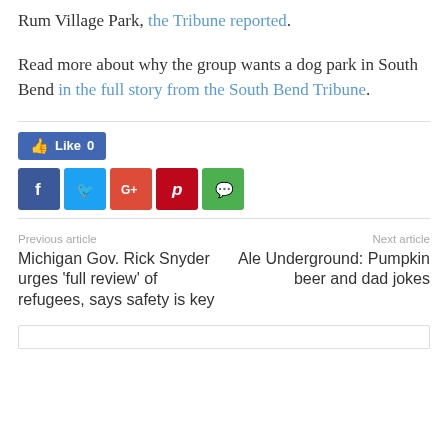Rum Village Park, the Tribune reported.
Read more about why the group wants a dog park in South Bend in the full story from the South Bend Tribune.
[Figure (other): Facebook Like button showing 'Like 0']
[Figure (other): Social sharing icons: Facebook, Twitter, Google+, Pinterest, WhatsApp]
Previous article
Michigan Gov. Rick Snyder urges 'full review' of refugees, says safety is key
Next article
Ale Underground: Pumpkin beer and dad jokes